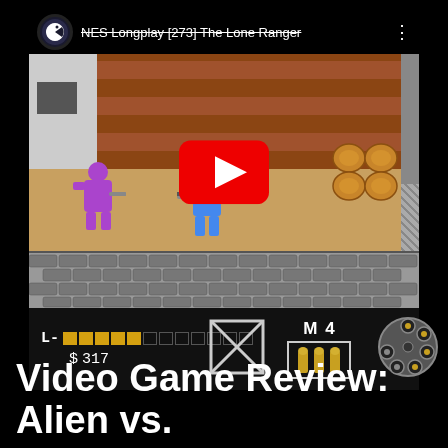[Figure (screenshot): YouTube video thumbnail for 'NES Longplay [273] The Lone Ranger' showing a top-down NES game scene with a player character in blue, an enemy in purple, wooden buildings, barrels, and a cobblestone road. A large red YouTube play button is overlaid in the center. Below the game view is the NES HUD showing a health bar (L), money ($317), ammo box with X, M4 ammo count, bullets, and a revolver cylinder.]
Video Game Review: Alien vs.